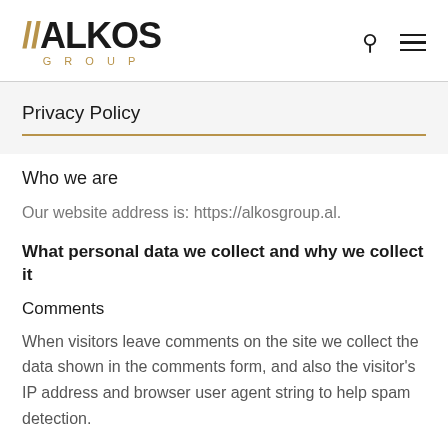ALKOS GROUP
Privacy Policy
Who we are
Our website address is: https://alkosgroup.al.
What personal data we collect and why we collect it
Comments
When visitors leave comments on the site we collect the data shown in the comments form, and also the visitor's IP address and browser user agent string to help spam detection.